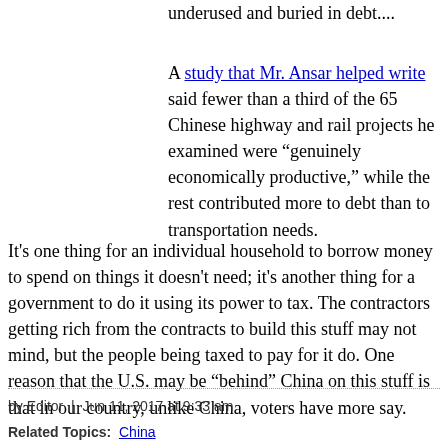underused and buried in debt....
A study that Mr. Ansar helped write said fewer than a third of the 65 Chinese highway and rail projects he examined were "genuinely economically productive," while the rest contributed more to debt than to transportation needs.
It's one thing for an individual household to borrow money to spend on things it doesn't need; it's another thing for a government to do it using its power to tax. The contractors getting rich from the contracts to build this stuff may not mind, but the people being taxed to pay for it do. One reason that the U.S. may be "behind" China on this stuff is that in our country, unlike China, voters have more say.
by Editor  |  Jun 11, 2017 at 9:33 am
Related Topics: China